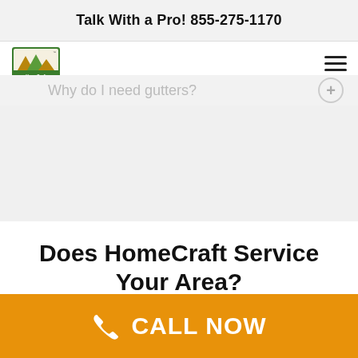Talk With a Pro! 855-275-1170
[Figure (logo): HomeCraft logo with house icon and green text]
Why do I need gutters?
Does HomeCraft Service Your Area?
zip/postal code
CALL NOW